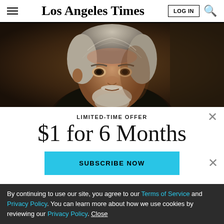Los Angeles Times
[Figure (photo): Close-up portrait of an older man with white/gray hair and beard, dark moody background]
LIMITED-TIME OFFER
$1 for 6 Months
SUBSCRIBE NOW
By continuing to use our site, you agree to our Terms of Service and Privacy Policy. You can learn more about how we use cookies by reviewing our Privacy Policy. Close